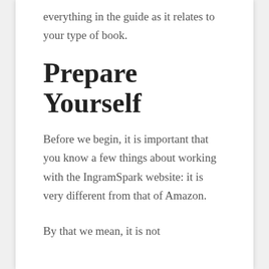everything in the guide as it relates to your type of book.
Prepare Yourself
Before we begin, it is important that you know a few things about working with the IngramSpark website: it is very different from that of Amazon.
By that we mean, it is not